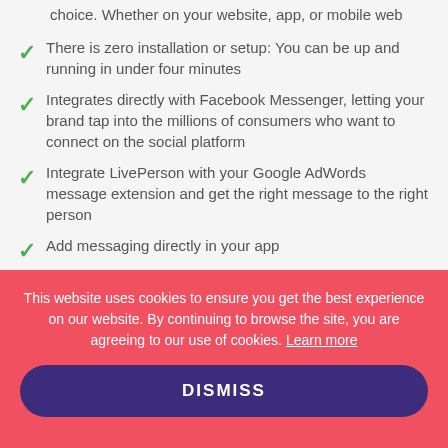choice. Whether on your website, app, or mobile web
There is zero installation or setup: You can be up and running in under four minutes
Integrates directly with Facebook Messenger, letting your brand tap into the millions of consumers who want to connect on the social platform
Integrate LivePerson with your Google AdWords message extension and get the right message to the right person
Add messaging directly in your app
Data and reporting are presented in context, per person, and per need
This website uses cookies to ensure you get the best experience on our website. By continuing to browse the site, you are agreeing to our use of cookies. Learn more
DISMISS